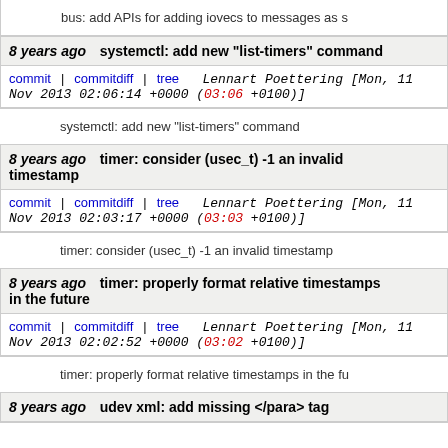bus: add APIs for adding iovecs to messages as s
8 years ago   systemctl: add new "list-timers" command
commit | commitdiff | tree   Lennart Poettering [Mon, 11 Nov 2013 02:06:14 +0000 (03:06 +0100)]
systemctl: add new "list-timers" command
8 years ago   timer: consider (usec_t) -1 an invalid timestamp
commit | commitdiff | tree   Lennart Poettering [Mon, 11 Nov 2013 02:03:17 +0000 (03:03 +0100)]
timer: consider (usec_t) -1 an invalid timestamp
8 years ago   timer: properly format relative timestamps in the future
commit | commitdiff | tree   Lennart Poettering [Mon, 11 Nov 2013 02:02:52 +0000 (03:02 +0100)]
timer: properly format relative timestamps in the fu
8 years ago   udev xml: add missing </para> tag